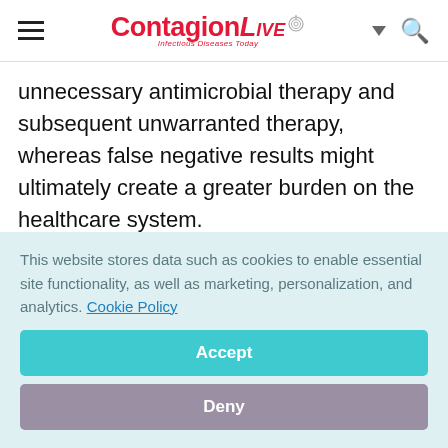ContagionLive — Infectious Diseases Today
unnecessary antimicrobial therapy and subsequent unwarranted therapy, whereas false negative results might ultimately create a greater burden on the healthcare system.
Finally, the patients who might gain the most benefit from self identifying sexually transmitted
This website stores data such as cookies to enable essential site functionality, as well as marketing, personalization, and analytics. Cookie Policy
Accept
Deny